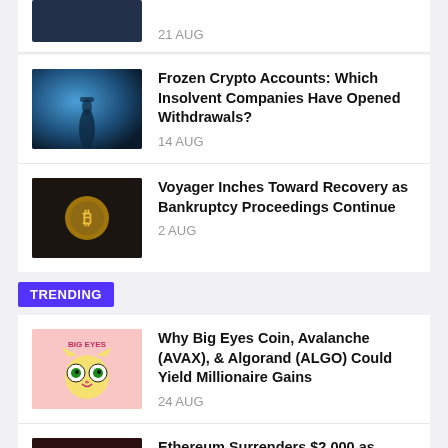[Figure (photo): Partial thumbnail of dark blue image at top]
21 AUG
[Figure (photo): Dark silhouette of person in blue foggy background]
Frozen Crypto Accounts: Which Insolvent Companies Have Opened Withdrawals?
14 AUG
[Figure (photo): Gold Bitcoin coin on dark surface]
Voyager Inches Toward Recovery as Bankruptcy Proceedings Continue
2 AUG
TRENDING
[Figure (illustration): Big Eyes Coin cartoon cat logo on pink background]
Why Big Eyes Coin, Avalanche (AVAX), & Algorand (ALGO) Could Yield Millionaire Gains
24 AUG
[Figure (photo): Ethereum coin held in hand]
Ethereum Surrenders $2,000 as Market Turns Lower, EOS, CHZ, APE, Aug. 22
22 AUG
[Figure (photo): Partial thumbnail at bottom]